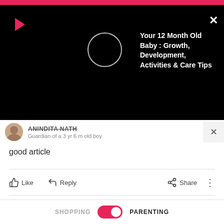[Figure (screenshot): Video popup overlay with play icon, loading circle, and article title on black background]
Your 12 Month Old Baby : Growth, Development, Activities & Care Tips
Guardian of a 3 yr 6 m old boy
good article
Like
Reply
Share
3 months ago
Dr Amruta Phadke
Mom of a 2 yr 5 m old girl
[Figure (screenshot): Vrbo advertisement banner with logo, house image, and Book early button]
Find family getaways nearby
SHOPPING   PARENTING